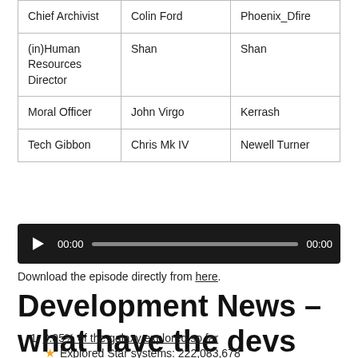| Chief Archivist | Colin Ford | Phoenix_Dfire |
| (in)Human Resources Director | Shan | Shan |
| Moral Officer | John Virgo | Kerrash |
| Tech Gibbon | Chris Mk IV | Newell Turner |
[Figure (other): Audio player with play button, 00:00 timestamp, progress bar, and 00:00 end time on dark background]
Download the episode directly from here.
Development News – what have the devs said this week?
0.05% of the galaxy explored so far
★ Explored Star systems: 222,083,678
Milky Way Approximately 0.05% of the galaxy explored so far